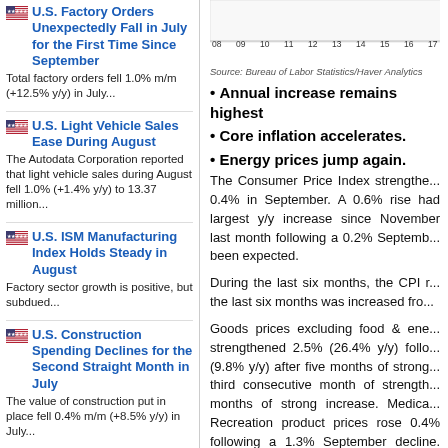U.S. Factory Orders Unexpectedly Fall in July for the First Time Since September
Total factory orders fell 1.0% m/m (+12.5% y/y) in July...
U.S. Light Vehicle Sales Ease During August
The Autodata Corporation reported that light vehicle sales during August fell 1.0% (+1.4% y/y) to 13.37 million...
U.S. ISM Manufacturing Index Holds Steady in August
Factory sector growth is positive, but subdued...
U.S. Construction Spending Declines for the Second Straight Month in July
The value of construction put in place fell 0.4% m/m (+8.5% y/y) in July...
more
[Figure (line-chart): Partial chart snippet visible at top showing axis labels: 08, 09, 10, 11, 12, 13, 14, 15, 16, 17, 18]
Source: Bureau of Labor Statistics/Haver Analytics
Annual increase remains highest
Core inflation accelerates.
Energy prices jump again.
The Consumer Price Index strengthened 0.4% in September. A 0.6% rise had largest y/y increase since November last month following a 0.2% September been expected.
During the last six months, the CPI r... the last six months was increased fro...
Goods prices excluding food & energy strengthened 2.5% (26.4% y/y) follo... (9.8% y/y) after five months of strong... third consecutive month of strength... months of strong increase. Medica... Recreation product prices rose 0.4% following a 1.3% September decline. (+2.5% y/y) after improving 0.6% in S...
Services prices rose 0.4% last mo... increased 0.7% (3.7% y/y) after pri...